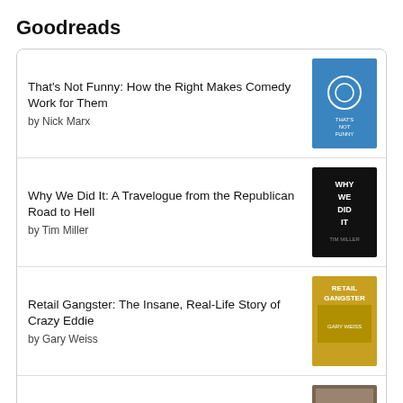Goodreads
That's Not Funny: How the Right Makes Comedy Work for Them by Nick Marx
Why We Did It: A Travelogue from the Republican Road to Hell by Tim Miller
Retail Gangster: The Insane, Real-Life Story of Crazy Eddie by Gary Weiss
Acting Jewish: Negotiating Ethnicity on the American Stage and Screen by Henry Bial
Three Minutes in Poland: Discovering a Lost World in a 1938 Family Film by Glenn Kurtz